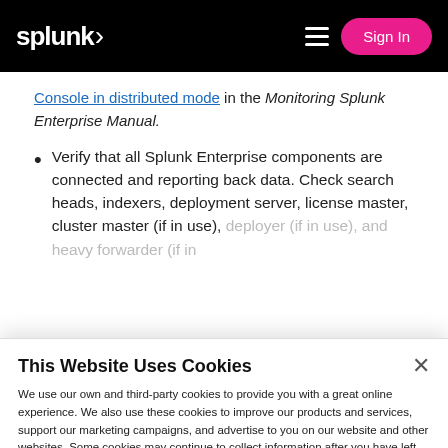splunk> Sign In
Console in distributed mode in the Monitoring Splunk Enterprise Manual.
Verify that all Splunk Enterprise components are connected and reporting back data. Check search heads, indexers, deployment server, license master, cluster master (if in use), deployer (if in use), and heavy forwarder (if in
This Website Uses Cookies
We use our own and third-party cookies to provide you with a great online experience. We also use these cookies to improve our products and services, support our marketing campaigns, and advertise to you on our website and other websites. Some cookies may continue to collect information after you have left our website. Learn more here ›
Accept Cookies   Cookies Settings ›